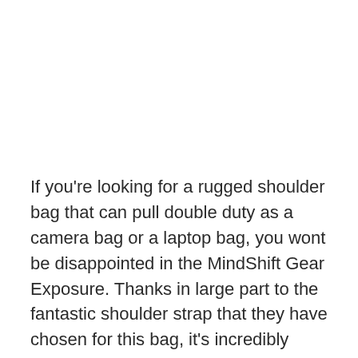If you're looking for a rugged shoulder bag that can pull double duty as a camera bag or a laptop bag, you wont be disappointed in the MindShift Gear Exposure. Thanks in large part to the fantastic shoulder strap that they have chosen for this bag, it's incredibly comfortable when loaded up to the maximum capacity. Whilst I'm not a big fan of the lack of space in